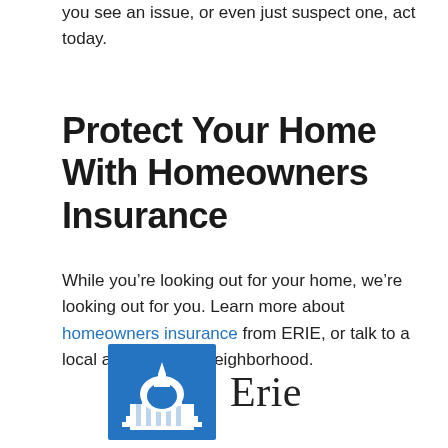you see an issue, or even just suspect one, act today.
Protect Your Home With Homeowners Insurance
While you’re looking out for your home, we’re looking out for you. Learn more about homeowners insurance from ERIE, or talk to a local agent in your neighborhood.
[Figure (logo): Erie Insurance logo: blue square with white capitol building dome icon, followed by the word 'Erie' in serif font]